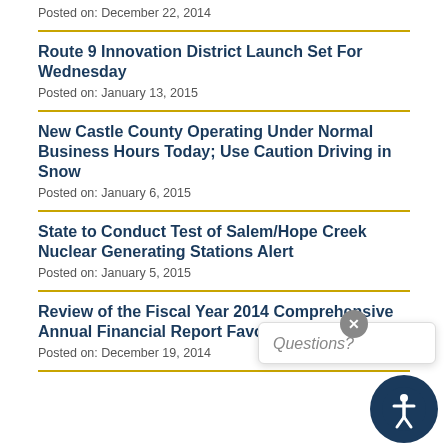Posted on: December 22, 2014
Route 9 Innovation District Launch Set For Wednesday
Posted on: January 13, 2015
New Castle County Operating Under Normal Business Hours Today; Use Caution Driving in Snow
Posted on: January 6, 2015
State to Conduct Test of Salem/Hope Creek Nuclear Generating Stations Alert
Posted on: January 5, 2015
Review of the Fiscal Year 2014 Comprehensive Annual Financial Report Favorable for County
Posted on: December 19, 2014